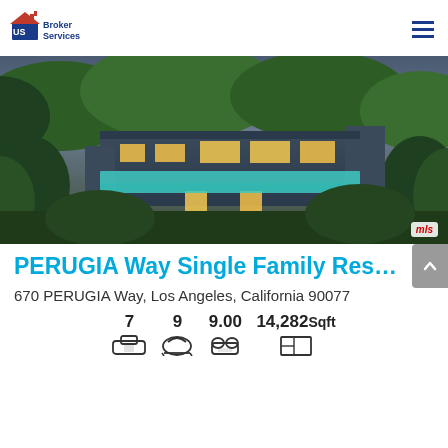[Figure (logo): US Broker Services logo with house icon in blue and red]
[Figure (photo): Aerial dusk view of luxury modern single-family home with infinity pool surrounded by trees at 670 PERUGIA Way, Los Angeles]
PERUGIA Way Single Family Resi...
670 PERUGIA Way, Los Angeles, California 90077
7  9  9.00  14,282Sqft